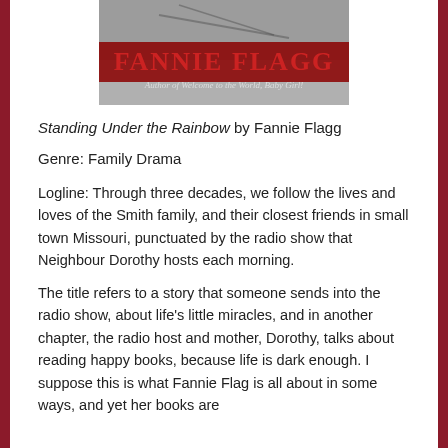[Figure (photo): Book cover of 'Standing Under the Rainbow' by Fannie Flagg, showing the author's name in large red letters and subtitle 'Author of Welcome to the World, Baby Girl!']
Standing Under the Rainbow by Fannie Flagg
Genre: Family Drama
Logline: Through three decades, we follow the lives and loves of the Smith family, and their closest friends in small town Missouri, punctuated by the radio show that Neighbour Dorothy hosts each morning.
The title refers to a story that someone sends into the radio show, about life's little miracles, and in another chapter, the radio host and mother, Dorothy, talks about reading happy books, because life is dark enough. I suppose this is what Fannie Flag is all about in some ways, and yet her books are